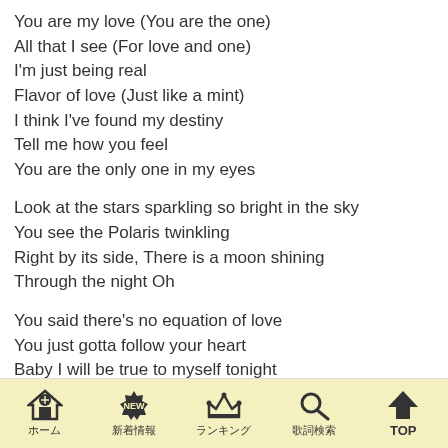You are my love (You are the one)
All that I see (For love and one)
I'm just being real
Flavor of love (Just like a mint)
I think I've found my destiny
Tell me how you feel
You are the only one in my eyes
Look at the stars sparkling so bright in the sky
You see the Polaris twinkling
Right by its side, There is a moon shining
Through the night Oh
You said there's no equation of love
You just gotta follow your heart
Baby I will be true to myself tonight
You are so sweet (You are the one)
All that I need (For love and one)
I'll be by your side
You are so pure (Just like a mint)
I wanna spend my life with you
ホーム　新着情報　ランキング　歌詞検索　TOP